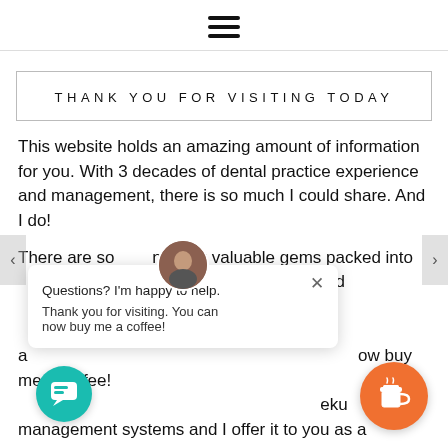☰ (hamburger menu icon)
THANK YOU FOR VISITING TODAY
This website holds an amazing amount of information for you. With 3 decades of dental practice experience and management, there is so much I could share. And I do!
There are so many very valuable gems packed into [information] that you could [learn] through dental [mar]keting a[nd] ... [seek] management systems and I offer it to you as a free download.
Questions? I'm happy to help.
Thank you for visiting. You can now buy me a coffee!